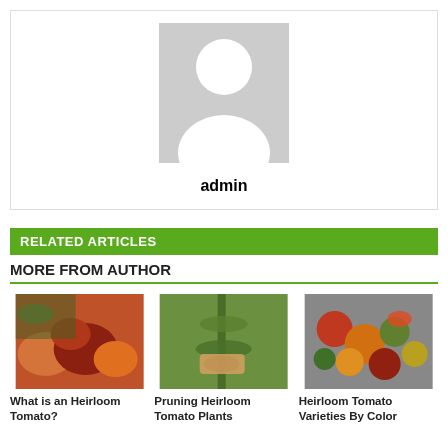[Figure (illustration): Author avatar placeholder box with grey background and white silhouette person icon]
admin
RELATED ARTICLES
MORE FROM AUTHOR
[Figure (photo): Close-up photo of heirloom tomatoes on a plant with green leaves]
What is an Heirloom Tomato?
[Figure (photo): Hand pruning a heirloom tomato plant stem]
Pruning Heirloom Tomato Plants
[Figure (photo): Assorted heirloom tomatoes of various colors arranged on a surface]
Heirloom Tomato Varieties By Color